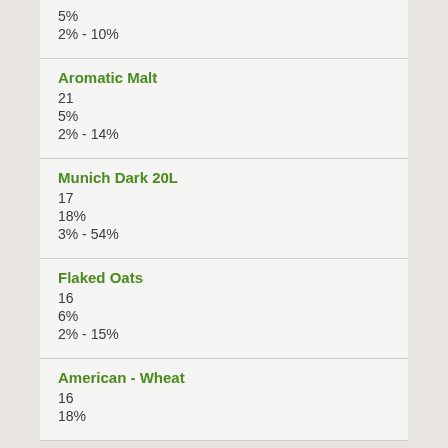5%
2% - 10%
Aromatic Malt
21
5%
2% - 14%
Munich Dark 20L
17
18%
3% - 54%
Flaked Oats
16
6%
2% - 15%
American - Wheat
16
18%